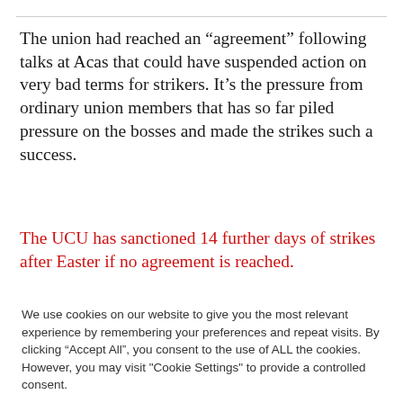The union had reached an “agreement” following talks at Acas that could have suspended action on very bad terms for strikers. It’s the pressure from ordinary union members that has so far piled pressure on the bosses and made the strikes such a success.
The UCU has sanctioned 14 further days of strikes after Easter if no agreement is reached.
We use cookies on our website to give you the most relevant experience by remembering your preferences and repeat visits. By clicking “Accept All”, you consent to the use of ALL the cookies. However, you may visit "Cookie Settings" to provide a controlled consent.